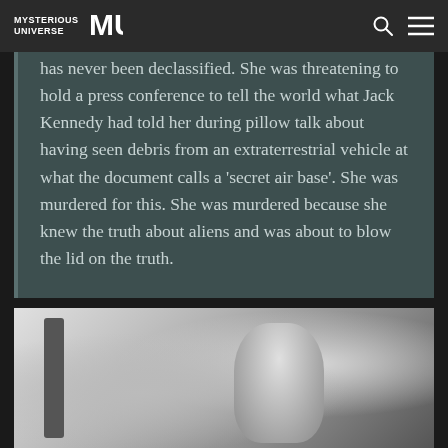MYSTERIOUS UNIVERSE
has never been declassified. She was threatening to hold a press conference to tell the world what Jack Kennedy had told her during pillow talk about having seen debris from an extraterrestrial vehicle at what the document calls a 'secret air base'. She was murdered for this. She was murdered because she knew the truth about aliens and was about to blow the lid on the truth.
[Figure (photo): Black and white photograph, partially visible at the bottom of the page, appears to show a person or figure, monochrome tones.]